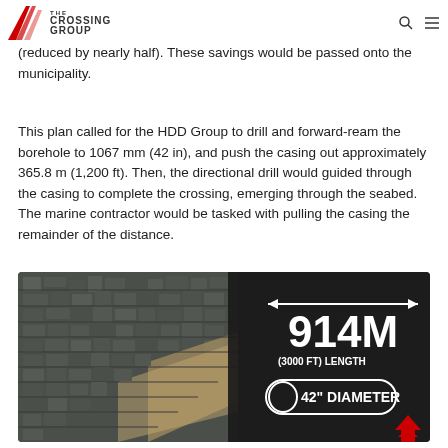THE CROSSING GROUP [logo with navigation icons]
total distance from its shore-based rig, the HDD company would significantly reduce the time a marine contractor was required (reduced by nearly half). These savings would be passed onto the municipality.
This plan called for the HDD Group to drill and forward-ream the borehole to 1067 mm (42 in), and push the casing out approximately 365.8 m (1,200 ft). Then, the directional drill would guided through the casing to complete the crossing, emerging through the seabed. The marine contractor would be tasked with pulling the casing the remainder of the distance.
[Figure (infographic): Aerial satellite image showing a coastal town and beach, overlaid on the right half with a dark background containing the text '914M (3000 FT) LENGTH' with a double-headed arrow, and '42" DIAMETER' inside a pill/pipe shape. A red arrow pointing upward is also shown.]